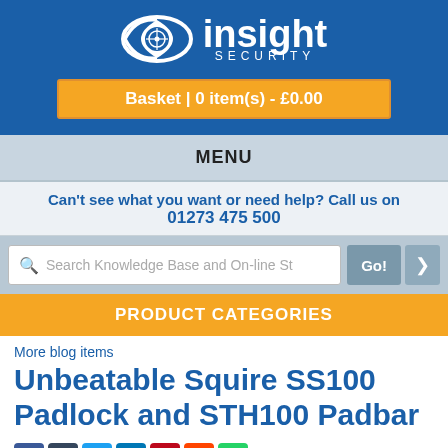[Figure (logo): Insight Security logo with eye icon and text 'insight SECURITY']
Basket | 0 item(s) - £0.00
MENU
Can't see what you want or need help? Call us on 01273 475 500
Search Knowledge Base and On-line Sh
PRODUCT CATEGORIES
More blog items
Unbeatable Squire SS100 Padlock and STH100 Padbar
[Figure (infographic): Social media share icons: Facebook, Tumblr, Twitter, LinkedIn, Pinterest, Reddit, WhatsApp]